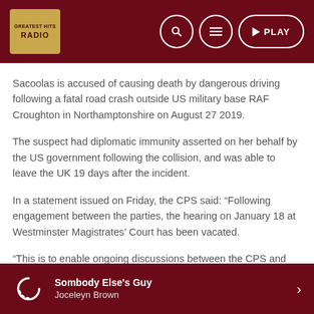RADIO | Search | Menu | PLAY
Sacoolas is accused of causing death by dangerous driving following a fatal road crash outside US military base RAF Croughton in Northamptonshire on August 27 2019.
The suspect had diplomatic immunity asserted on her behalf by the US government following the collision, and was able to leave the UK 19 days after the incident.
In a statement issued on Friday, the CPS said: “Following engagement between the parties, the hearing on January 18 at Westminster Magistrates’ Court has been vacated.
“This is to enable ongoing discussions between the CPS and Anne Sacoolas’s legal representatives to continue.
Sombody Else's Guy
Joceleyn Brown